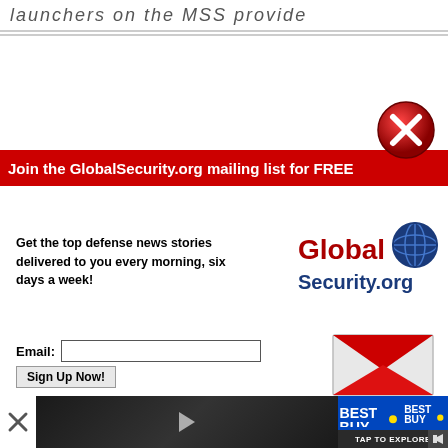launchers on the MSS provide
[Figure (illustration): Red circle with white X close button]
Join the GlobalSecurity.org mailing list for FREE
Get the top defense news stories delivered to you every morning, six days a week!
[Figure (logo): GlobalSecurity.org logo with globe icon]
Email: [input field] Sign Up Now!
[Figure (illustration): Red envelope icon]
[Figure (screenshot): Black video player area with white play button triangle]
[Figure (screenshot): Bottom ad bar with close X, video thumbnail, Best Buy logo, TAP TO EXPLORE button, and speaker icon]